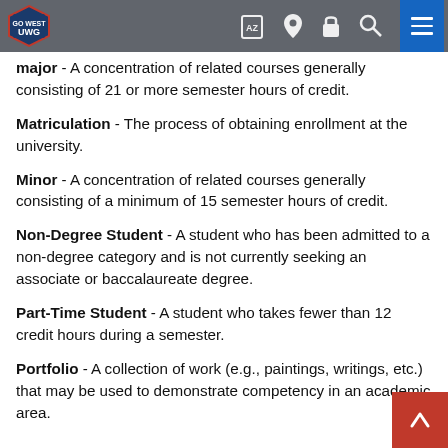[Figure (screenshot): University website navigation bar with UWG Go West logo, alphabet/search/location/lock icons, and blue hamburger menu button]
major - A concentration of related courses generally consisting of 21 or more semester hours of credit.
Matriculation - The process of obtaining enrollment at the university.
Minor - A concentration of related courses generally consisting of a minimum of 15 semester hours of credit.
Non-Degree Student - A student who has been admitted to a non-degree category and is not currently seeking an associate or baccalaureate degree.
Part-Time Student - A student who takes fewer than 12 credit hours during a semester.
Portfolio - A collection of work (e.g., paintings, writings, etc.) that may be used to demonstrate competency in an academic area.